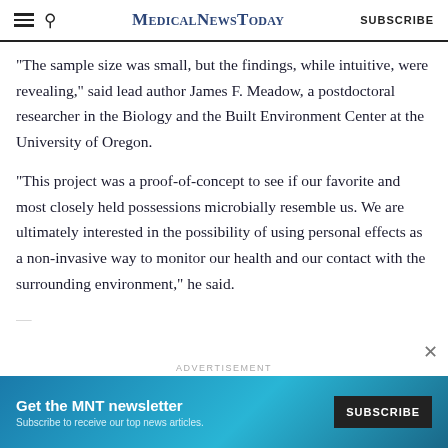MedicalNewsToday | SUBSCRIBE
"The sample size was small, but the findings, while intuitive, were revealing," said lead author James F. Meadow, a postdoctoral researcher in the Biology and the Built Environment Center at the University of Oregon.
"This project was a proof-of-concept to see if our favorite and most closely held possessions microbially resemble us. We are ultimately interested in the possibility of using personal effects as a non-invasive way to monitor our health and our contact with the surrounding environment," he said.
[Figure (infographic): MNT newsletter advertisement banner with teal/blue background. Text reads: Get the MNT newsletter. Subscribe to receive our top news articles. Blue SUBSCRIBE button on dark background.]